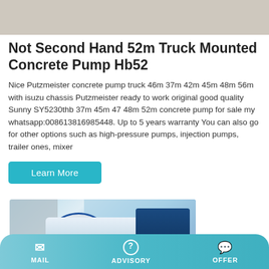[Figure (photo): Gray/beige background image at top of page (partial product image)]
Not Second Hand 52m Truck Mounted Concrete Pump Hb52
Nice Putzmeister concrete pump truck 46m 37m 42m 45m 48m 56m with isuzu chassis Putzmeister ready to work original good quality Sunny SY5230thb 37m 45m 47 48m 52m concrete pump for sale my whatsapp:008613816985448. Up to 5 years warranty You can also go for other options such as high-pressure pumps, injection pumps, trailer ones, mixer
[Figure (other): Learn More button (cyan/teal colored button)]
[Figure (photo): Photo of a blue and white truck mounted concrete pump / mixer truck parked in front of a building]
MAIL   ADVISORY   OFFER